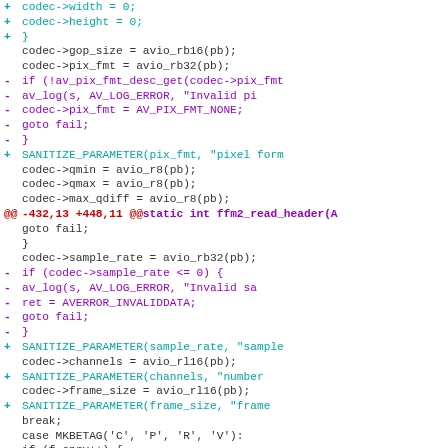[Figure (screenshot): A code diff view showing changes to a C source file (FFmpeg), with added lines in cyan/teal, removed lines in purple, and hunk headers in red. Lines show codec parameter reads and SANITIZE_PARAMETER macro replacements.]